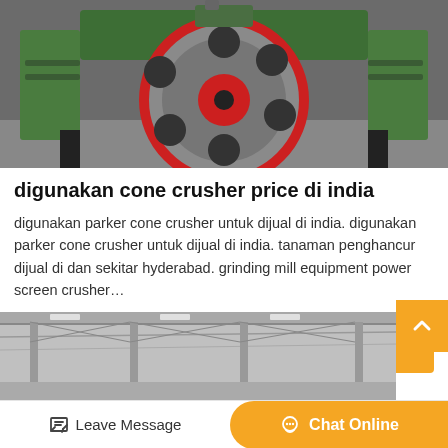[Figure (photo): Front view of a green cone crusher machine with a large circular wheel featuring red trim and multiple circular cutouts, mounted on a black metal frame in an industrial setting.]
digunakan cone crusher price di india
digunakan parker cone crusher untuk dijual di india. digunakan parker cone crusher untuk dijual di india. tanaman penghancur dijual di dan sekitar hyderabad. grinding mill equipment power screen crusher…
GET PRICE
[Figure (photo): Grayscale photo of an industrial warehouse interior with steel roof structure and columns.]
Leave Message
Chat Online